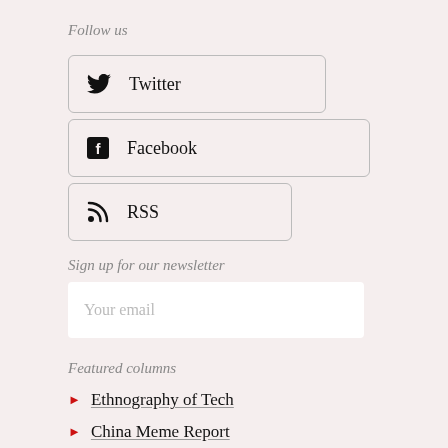Follow us
Twitter
Facebook
RSS
Sign up for our newsletter
Your email
Featured columns
Ethnography of Tech
China Meme Report